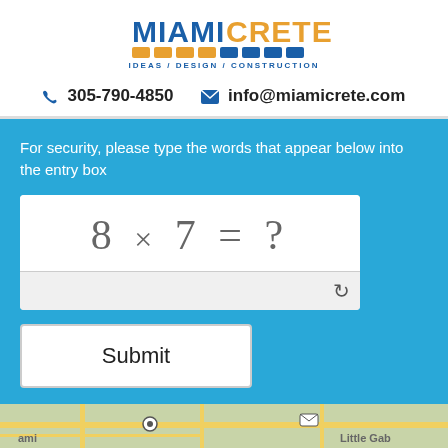[Figure (logo): MiamiCrete logo with blue MIAMI and orange CRETE text, decorative tile pattern below, and tagline IDEAS / DESIGN / CONSTRUCTION]
305-790-4850   info@miamicrete.com
For security, please type the words that appear below into the entry box
[Figure (other): CAPTCHA showing math question: 8 x 7 = ? with an input box and refresh icon]
Submit
Find Us
[Figure (map): Partial Google Maps view showing streets near Miami area and Little Gab(le area label)]